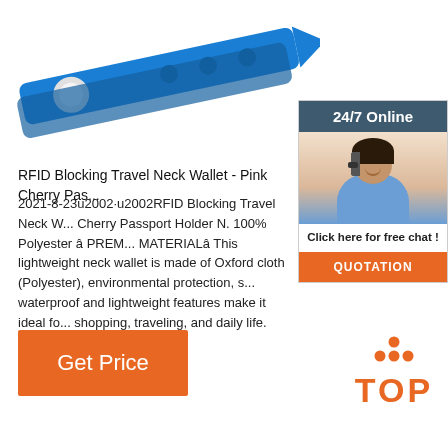[Figure (photo): Blue RFID wristband / travel neck wallet product image on white background]
[Figure (infographic): 24/7 Online customer support widget with woman wearing headset, 'Click here for free chat!' text, and orange QUOTATION button]
RFID Blocking Travel Neck Wallet - Pink Cherry Pas...
2021-8-23u2002·u2002RFID Blocking Travel Neck W... Cherry Passport Holder N. 100% Polyester â PREM... MATERIALâ This lightweight neck wallet is made of Oxford cloth (Polyester), environmental protection, s... waterproof and lightweight features make it ideal fo... shopping, traveling, and daily life.
[Figure (other): Orange 'Get Price' button]
[Figure (logo): Orange TOP logo with dots arranged in triangle above the word TOP]